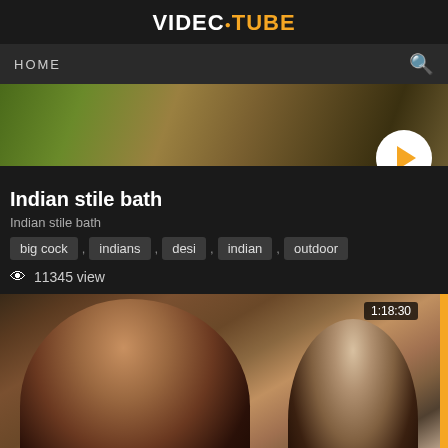VIDEC•TUBE
[Figure (screenshot): Video website navigation bar with HOME text and search icon]
[Figure (photo): Top video thumbnail showing outdoor nature scene with play button overlay]
Indian stile bath
Indian stile bath
big cock , indians , desi , indian , outdoor
11345 view
[Figure (photo): Video thumbnail showing two women, duration badge 1:18:30, orange side bar]